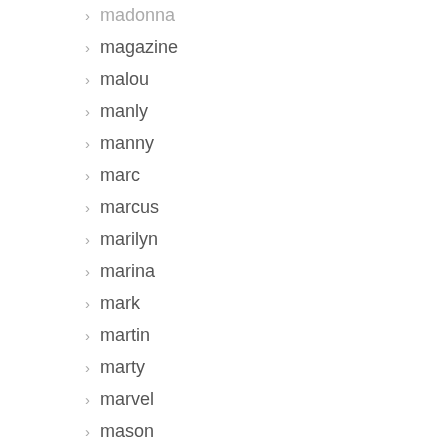madonna
magazine
malou
manly
manny
marc
marcus
marilyn
marina
mark
martin
marty
marvel
mason
matt
matthew (partial)